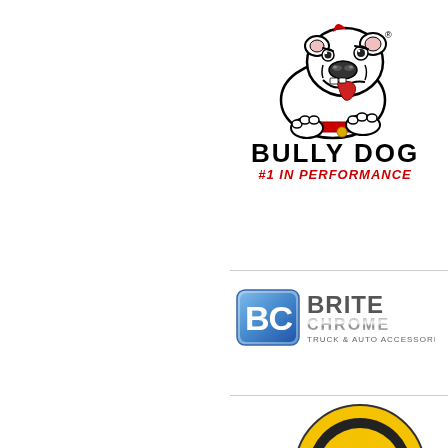[Figure (logo): Bully Dog logo: bulldog mascot illustration above bold text 'BULLY DOG' and red italic tagline '#1 IN PERFORMANCE']
[Figure (logo): Brite Chrome logo: BC badge icon with 'BRITE CHROME TRUCK & AUTO ACCESSORIES' text]
[Figure (logo): Partial circular logo at bottom, yellow and black, partially cropped]